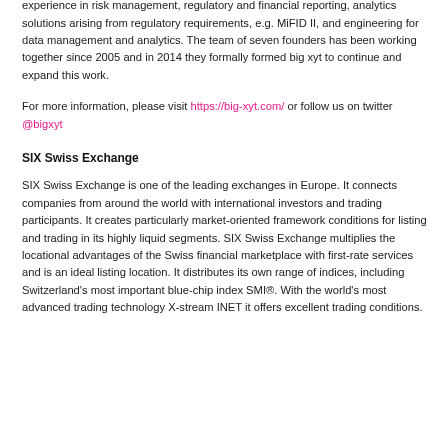big xyt was founded by a team of experts combining more than two decades of experience in risk management, regulatory and financial reporting, analytics solutions arising from regulatory requirements, e.g. MiFID II, and engineering for data management and analytics. The team of seven founders has been working together since 2005 and in 2014 they formally formed big xyt to continue and expand this work.
For more information, please visit https://big-xyt.com/ or follow us on twitter @bigxyt
SIX Swiss Exchange
SIX Swiss Exchange is one of the leading exchanges in Europe. It connects companies from around the world with international investors and trading participants. It creates particularly market-oriented framework conditions for listing and trading in its highly liquid segments. SIX Swiss Exchange multiplies the locational advantages of the Swiss financial marketplace with first-rate services and is an ideal listing location. It distributes its own range of indices, including Switzerland's most important blue-chip index SMI®. With the world's most advanced trading technology X-stream INET it offers excellent trading conditions.